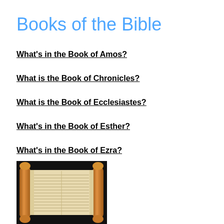Books of the Bible
What’s in the Book of Amos?
What is the Book of Chronicles?
What is the Book of Ecclesiastes?
What’s in the Book of Esther?
What’s in the Book of Ezra?
[Figure (photo): A photograph of an ancient Hebrew scroll with wooden rollers on each end, opened to show columns of text on parchment, against a dark background.]